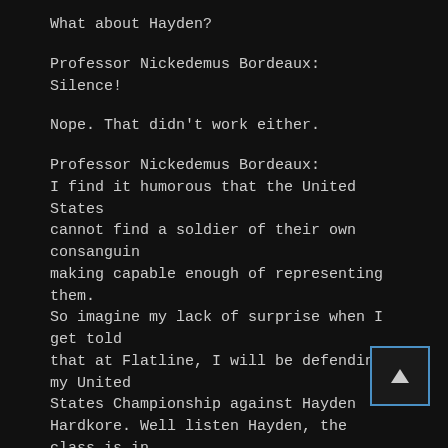What about Hayden?
Professor Nickedemus Bordeaux:
Silence!
Nope. That didn't work either.
Professor Nickedemus Bordeaux:
I find it humorous that the United States cannot find a soldier of their own consanguin making capable enough of representing them. So imagine my lack of surprise when I get told that at Flatline, I will be defending my United States Championship against Hayden Hardkore. Well listen Hayden, the class is in session. When I look at you, I see a man that purposely desecrates his body like a criminal, a thug, a crétin, a rejected element of Australia that even those condamnés refuse to take